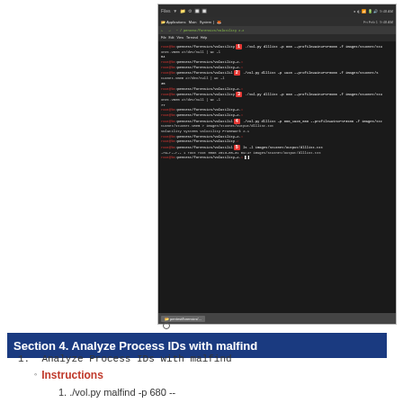[Figure (screenshot): Terminal/command-line screenshot showing volatility forensics commands with red numbered arrows (1-5) highlighting specific command inputs and outputs on a dark background]
Section 4. Analyze Process IDs with malfind
1. Analyze Process IDs with malfind
◦ Instructions
1. ./vol.py malfind -p 680 --profile=WinXPSP3x86 -f images/stuxnet/stuxnet.vmem